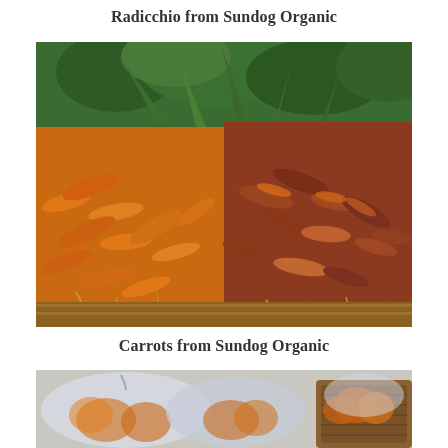Radicchio from Sundog Organic
[Figure (photo): Bunches of orange carrots and purple-orange heirloom carrots displayed in a wooden crate at a farmers market, with green leafy tops visible]
Carrots from Sundog Organic
[Figure (photo): Bagged produce items in plastic bags in a basket at a market stall, partially visible at bottom of page]